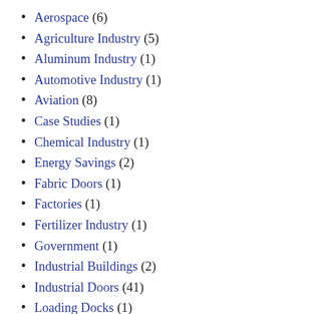Aerospace (6)
Agriculture Industry (5)
Aluminum Industry (1)
Automotive Industry (1)
Aviation (8)
Case Studies (1)
Chemical Industry (1)
Energy Savings (2)
Fabric Doors (1)
Factories (1)
Fertilizer Industry (1)
Government (1)
Industrial Buildings (2)
Industrial Doors (41)
Loading Docks (1)
Lumber Industry (1)